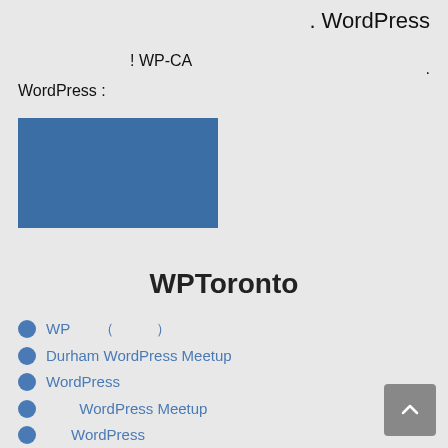. WordPress
! WP-CA
.
WordPress :
[Figure (other): Blue rectangle/image placeholder]
WPToronto
WP　　　（　　　　　　）
Durham WordPress Meetup
WordPress
WordPress Meetup
WordPress
WordPress 한국
WordPress 한국어모임